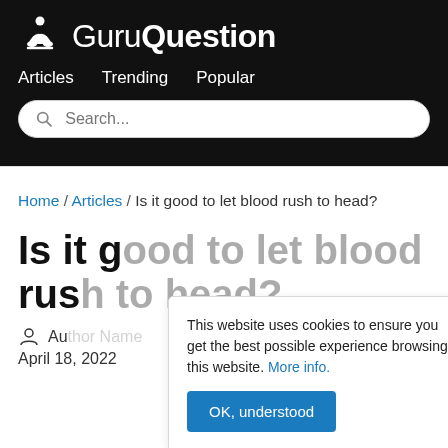GuruQuestion — Articles | Trending | Popular | Search
Home / Articles / Is it good to let blood rush to head?
Is it good to let blood rush to head?
Author
April 18, 2022
This website uses cookies to ensure you get the best possible experience browsing this website. More info.
OK, understood